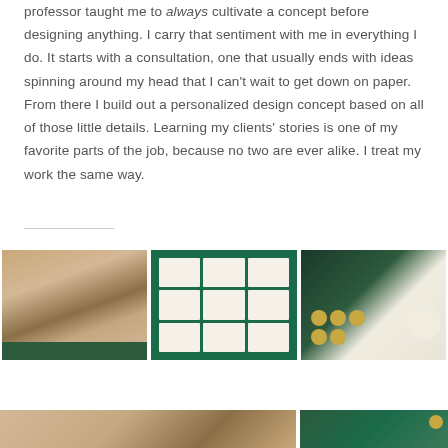professor taught me to always cultivate a concept before designing anything. I carry that sentiment with me in everything I do. It starts with a consultation, one that usually ends with ideas spinning around my head that I can't wait to get down on paper. From there I build out a personalized design concept based on all of those little details. Learning my clients' stories is one of my favorite parts of the job, because no two are ever alike. I treat my work the same way.
[Figure (photo): Three photos in a row: left shows a wooden/embossed invitation card held over a green velvet surface; center shows multiple small place cards arranged on a green velvet tablecloth; right shows gold wax seals and a white circle on a light wood surface with a dark card and gold detail.]
[Figure (photo): Bottom partial strip showing two photos: left appears to be an invitation or stationery detail, right shows a partial photo with gold circular element.]